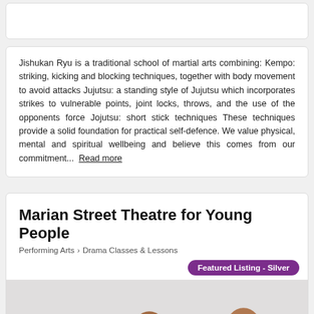Jishukan Ryu is a traditional school of martial arts combining: Kempo: striking, kicking and blocking techniques, together with body movement to avoid attacks Jujutsu: a standing style of Jujutsu which incorporates strikes to vulnerable points, joint locks, throws, and the use of the opponents force Jojutsu: short stick techniques These techniques provide a solid foundation for practical self-defence. We value physical, mental and spiritual wellbeing and believe this comes from our commitment... Read more
Marian Street Theatre for Young People
Performing Arts > Drama Classes & Lessons
Featured Listing - Silver
[Figure (photo): Group of children/young people wearing black t-shirts with colourful graphic prints, posing energetically against a white background]